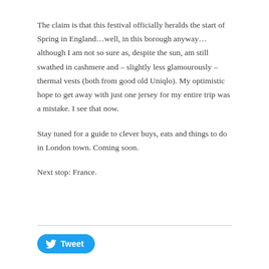The claim is that this festival officially heralds the start of Spring in England…well, in this borough anyway…although I am not so sure as, despite the sun, am still swathed in cashmere and – slightly less glamourously – thermal vests (both from good old Uniqlo). My optimistic hope to get away with just one jersey for my entire trip was a mistake. I see that now.
Stay tuned for a guide to clever buys, eats and things to do in London town. Coming soon.
Next stop: France.
[Figure (other): Twitter Tweet button with bird logo]